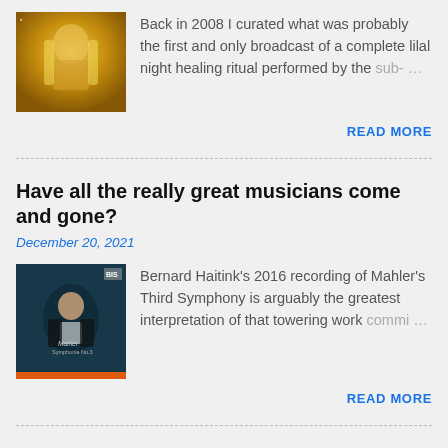Back in 2008 I curated what was probably the first and only broadcast of a complete lilal night healing ritual performed by the sub-…
READ MORE
Have all the really great musicians come and gone?
December 20, 2021
Bernard Haitink's 2016 recording of Mahler's Third Symphony is arguably the greatest interpretation of that towering work commi…
READ MORE
What the composer found in his orgone box